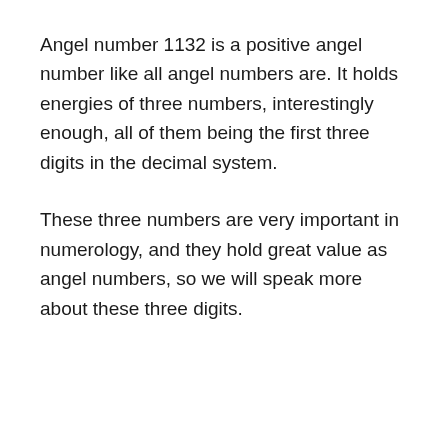Angel number 1132 is a positive angel number like all angel numbers are. It holds energies of three numbers, interestingly enough, all of them being the first three digits in the decimal system.
These three numbers are very important in numerology, and they hold great value as angel numbers, so we will speak more about these three digits.